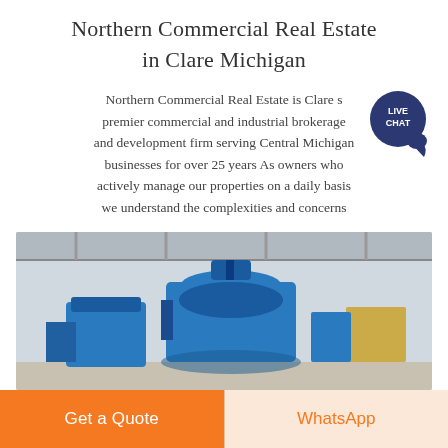Northern Commercial Real Estate in Clare Michigan
Northern Commercial Real Estate is Clare s premier commercial and industrial brokerage and development firm serving Central Michigan businesses for over 25 years As owners who actively manage our properties on a daily basis we understand the complexities and concerns
[Figure (photo): Industrial warehouse interior with large blue heavy machinery/equipment on a factory floor with metal roof trusses visible overhead]
Get a Quote
WhatsApp